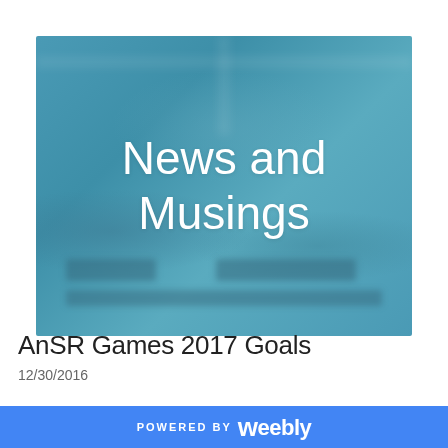[Figure (illustration): Blue-teal banner background with blurred shapes and text 'News and Musings' centered in white]
AnSR Games 2017 Goals
12/30/2016
POWERED BY weebly